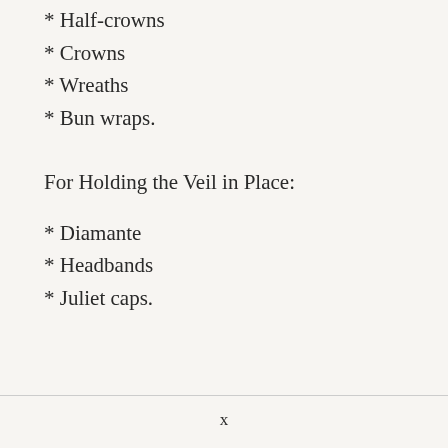* Half-crowns
* Crowns
* Wreaths
* Bun wraps.
For Holding the Veil in Place:
* Diamante
* Headbands
* Juliet caps.
x